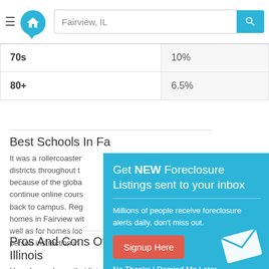Fairview, IL
| 70s | 10% |
| 80+ | 6.5% |
Best Schools In Fa...
It was a rollercoaster... districts throughout t... because of the globa... continue online cours... back to campus. Reg... homes in Fairview wit... well as for homes loc... person instruction in...
[Figure (infographic): Popup overlay: 'Get NEW Foreclosure Listings sent to your inbox. Millions of people receive foreclosure alerts daily, don't miss out. Signup Here button. No Thanks | Remind Me Later links. Envelope icon graphic.']
Pros And Cons Of Living In Fairview, Illinois
How do you know that living in -- or moving to -- Fairview is right